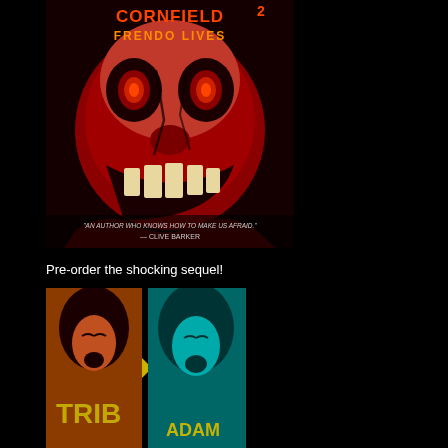[Figure (illustration): Book cover for 'Clown in a Cornfield 2: Frendo Lives' featuring a terrifying red clown face with glowing eyes and sharp teeth on a dark red background. Text at bottom reads 'An author who knows how to make us afraid.' — Clive Barker]
Pre-order the shocking sequel!
[Figure (illustration): Book cover split into two panels: left panel shows a screaming woman in red/orange tones with 'TRIB' text visible; right panel shows another screaming woman in teal/cyan tones with 'ADAM' text visible at bottom. Yellow background with black dividing line.]